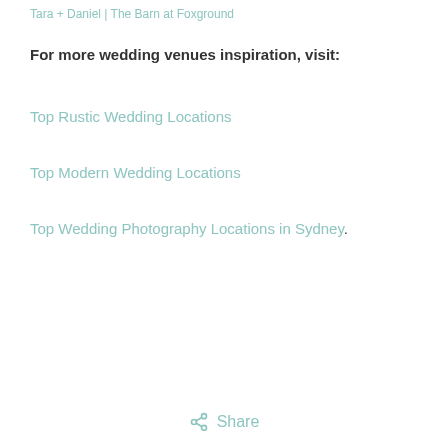Tara + Daniel | The Barn at Foxground
For more wedding venues inspiration, visit:
Top Rustic Wedding Locations
Top Modern Wedding Locations
Top Wedding Photography Locations in Sydney.
Share